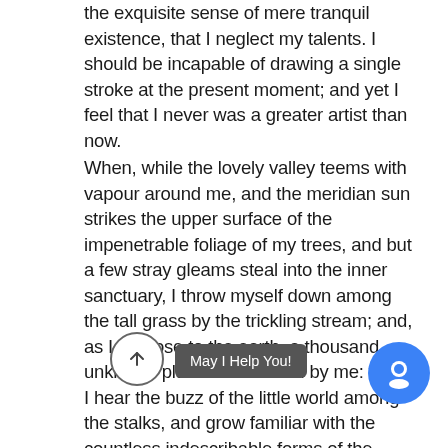the exquisite sense of mere tranquil existence, that I neglect my talents. I should be incapable of drawing a single stroke at the present moment; and yet I feel that I never was a greater artist than now.
When, while the lovely valley teems with vapour around me, and the meridian sun strikes the upper surface of the impenetrable foliage of my trees, and but a few stray gleams steal into the inner sanctuary, I throw myself down among the tall grass by the trickling stream; and, as I lie close to the earth, a thousand unknown plants are noticed by me: when I hear the buzz of the little world among the stalks, and grow familiar with the countless indescribable forms of the insects and flies, th feel the presence of formed us in his own image, and the breath of